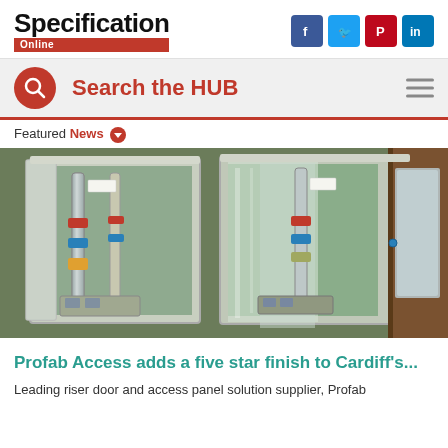Specification Online
Search the HUB
Featured News
[Figure (photo): Open access panels/riser doors on a green wall revealing internal plumbing pipes, valves and components, with a wooden door visible on the right side.]
Profab Access adds a five star finish to Cardiff's...
Leading riser door and access panel solution supplier, Profab